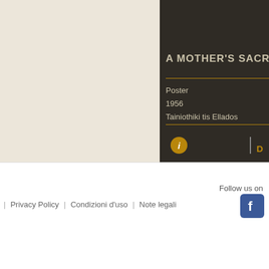[Figure (screenshot): Screenshot of a movie database website showing a film entry panel. Left side has a beige/cream colored area (likely a movie poster placeholder). Right side is a dark brown panel showing movie title 'A MOTHER'S SACRI...' (truncated), with metadata: Poster, 1956, Tainiothiki tis Ellados. Gold horizontal divider lines separate sections. An info icon (gold circle with 'i') is at the bottom left of the dark panel.]
Follow us on
| Privacy Policy   | Condizioni d'uso   | Note legali